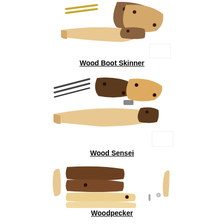[Figure (photo): Wood Boot Skinner knife kit components laid out: wooden handle scales, blade blank, brass pins on white background]
Wood Boot Skinner
[Figure (photo): Wood Sensei knife kit components laid out: wooden handle scales, blade blank, metal rod/pin on white background]
Wood Sensei
[Figure (photo): Woodpecker folding knife kit components: walnut scales, maple scales, blade blanks, spring, and small pin on white background]
Woodpecker
[Figure (photo): Partial view of another wooden knife kit at bottom of page]